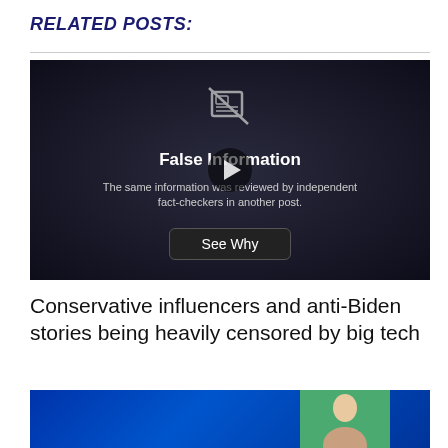RELATED POSTS:
[Figure (screenshot): Facebook 'False Information' overlay screen showing a newspaper crossed-out icon, bold text 'False Information', body text 'The same information was reviewed by independent fact-checkers in another post.', a play button overlay, and a 'See Why' button. Dark background.]
Conservative influencers and anti-Biden stories being heavily censored by big tech
[Figure (photo): Partial photo with blue background and a woman's face visible on the right side.]